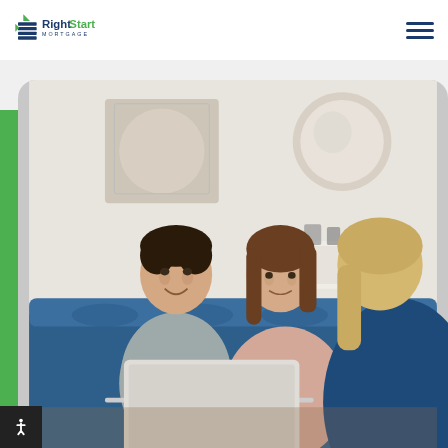RightStart Mortgage
[Figure (logo): RightStart Mortgage logo with blue building icon and green triangle accent]
[Figure (photo): A couple sitting on a blue sofa with a laptop meeting with a mortgage advisor (blonde woman seen from behind). The couple is smiling and looking attentive. Background shows a well-lit room with artwork on the wall.]